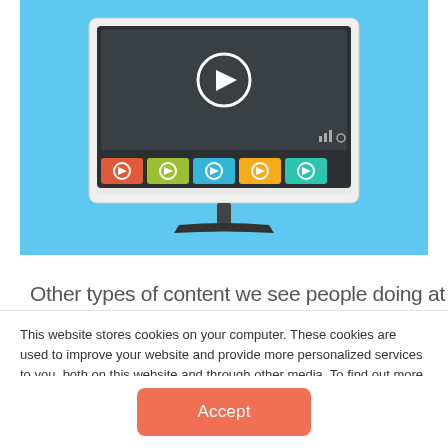[Figure (illustration): Flat design illustration of a desktop monitor showing a video player interface with a play button on a dark screen, colorful thumbnails (red, green, blue, yellow, teal) below, on a light blue background with a monitor stand.]
Other types of content we see people doing at
This website stores cookies on your computer. These cookies are used to improve your website and provide more personalized services to you, both on this website and through other media. To find out more about the cookies we use, see our Privacy Policy.